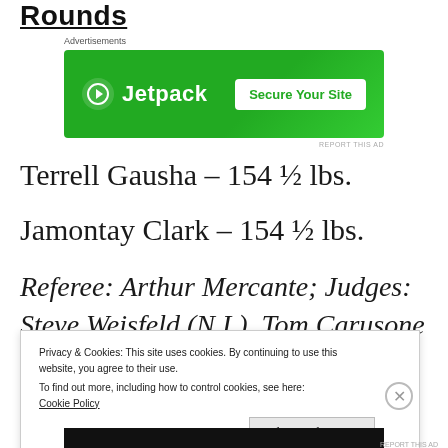Rounds
[Figure (other): Jetpack advertisement banner with green background, logo and 'Secure Your Site' button]
Terrell Gausha – 154 ½ lbs.
Jamontay Clark – 154 ½ lbs.
Referee: Arthur Mercante; Judges: Steve Weisfeld (N.I.). Tom Carusone
Privacy & Cookies: This site uses cookies. By continuing to use this website, you agree to their use.
To find out more, including how to control cookies, see here: Cookie Policy
Close and accept